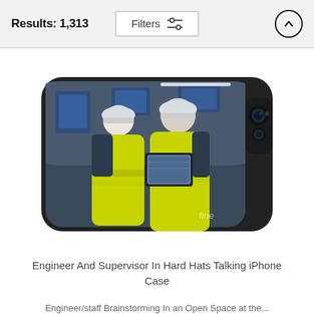Results: 1,313
Filters
[Figure (photo): Phone case showing two engineers/supervisors in high-visibility yellow jackets and white hard hats, viewed from behind, looking at a tablet screen in an industrial facility. The case is shown on an iPhone with a camera module visible on the right side.]
Engineer And Supervisor In Hard Hats Talking iPhone Case
Engineer/staff Brainstorming In an Open Space at the...